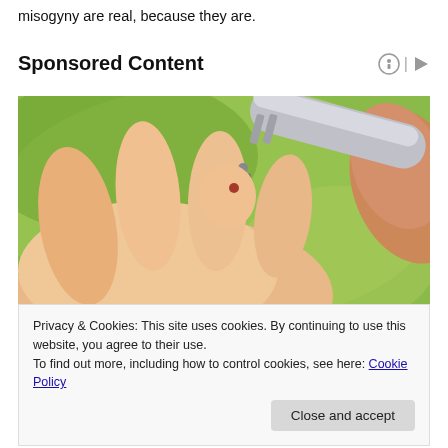misogyny are real, because they are.
Sponsored Content
[Figure (photo): Close-up photo of a lancet device pricking a finger for a blood glucose test, held over an open palm against a green background.]
Privacy & Cookies: This site uses cookies. By continuing to use this website, you agree to their use.
To find out more, including how to control cookies, see here: Cookie Policy
Close and accept